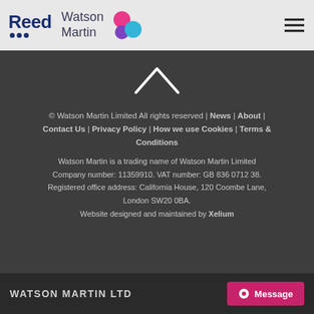[Figure (logo): Reed and Watson Martin logos side by side in a light grey header bar, with a hamburger menu icon on the right]
[Figure (illustration): White chevron/caret pointing upward on dark background]
© Watson Martin Limited All rights reserved | News | About | Contact Us | Privacy Policy | How we use Cookies | Terms & Conditions
Watson Martin is a trading name of Watson Martin Limited Company number: 11359910. VAT number: GB 836 0712 38. Registered office address: California House, 120 Coombe Lane, London SW20 0BA.
Website designed and maintained by Xelium
WATSON MARTIN LTD